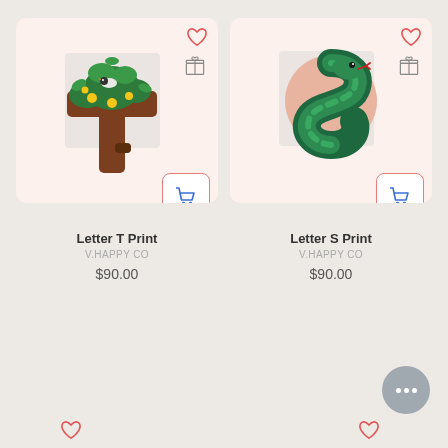[Figure (illustration): Letter T Print product card with an illustrated letter T made from a tree trunk with green leaves and a bird, on a light pink background. Includes heart icon, gift icon, and shopping cart button.]
Letter T Print
V.HAPPY CO
$90.00
[Figure (illustration): Letter S Print product card with an illustrated letter S made from a green snake with scales and a forked tongue, on a light pink background. Includes heart icon, gift icon, and shopping cart button.]
Letter S Print
V.HAPPY CO
$90.00